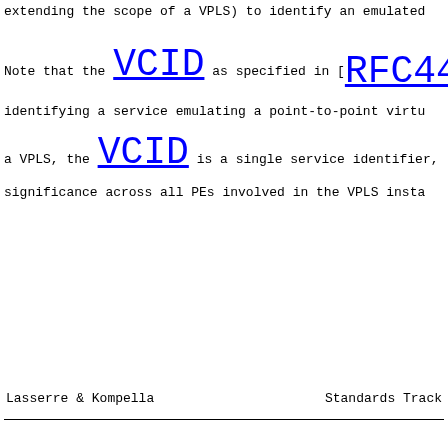extending the scope of a VPLS) to identify an emulated
Note that the VCID as specified in [RFC44 identifying a service emulating a point-to-point virtu a VPLS, the VCID is a single service identifier, significance across all PEs involved in the VPLS insta
Lasserre & Kompella          Standards Track